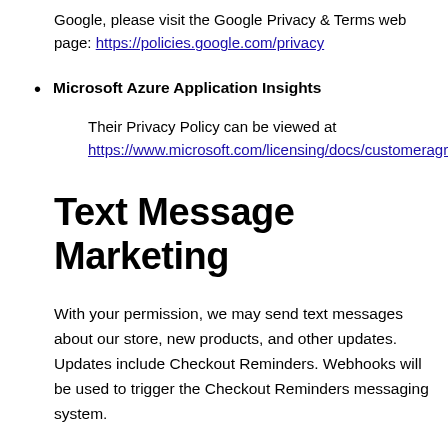Google, please visit the Google Privacy & Terms web page: https://policies.google.com/privacy
Microsoft Azure Application Insights
Their Privacy Policy can be viewed at https://www.microsoft.com/licensing/docs/customeragr...
Text Message Marketing
With your permission, we may send text messages about our store, new products, and other updates. Updates include Checkout Reminders. Webhooks will be used to trigger the Checkout Reminders messaging system.